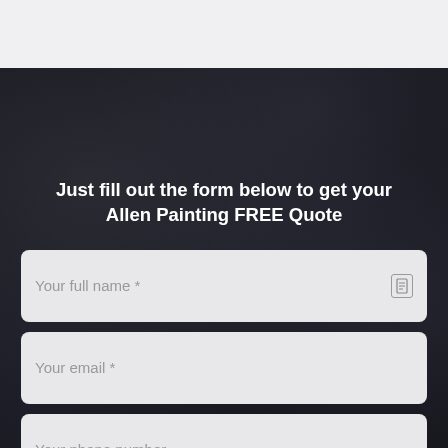[Figure (screenshot): Top gray bar representing a browser/app chrome area]
Just fill out the form below to get your Allen Painting FREE Quote
Your full name *
Your email *
Your phone number